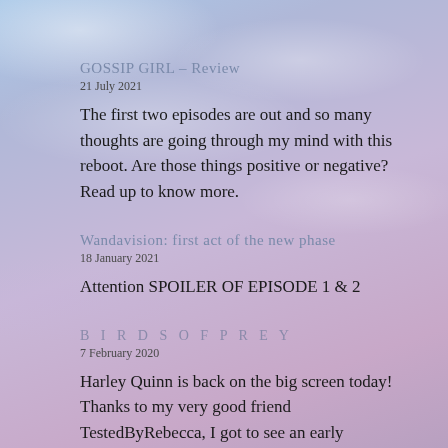GOSSIP GIRL – Review
21 July 2021
The first two episodes are out and so many thoughts are going through my mind with this reboot. Are those things positive or negative? Read up to know more.
Wandavision: first act of the new phase
18 January 2021
Attention SPOILER OF EPISODE 1 & 2
BIRDS OF PREY
7 February 2020
Harley Quinn is back on the big screen today! Thanks to my very good friend TestedByRebecca, I got to see an early